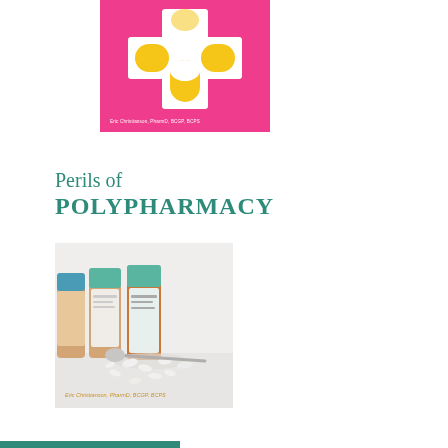[Figure (illustration): Book cover with pink background featuring a white cross/plus symbol made of pill shapes and a capsule shape, with author name 'Eric Christianson, PharmD, BCGP, BCPS' in small white text at the bottom]
Perils of POLYPHARMACY
[Figure (photo): Book cover photo showing multiple orange medicine bottles with teal/mint caps arranged in a row, with white pills scattered in front on a white surface. Author name 'Eric Christianson, PharmD, BCGP, BCPS' in teal/gold italic text at bottom left.]